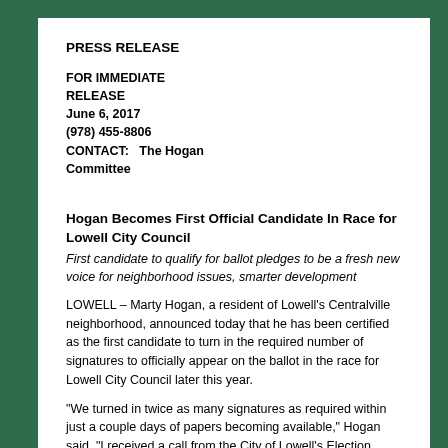PRESS RELEASE
FOR IMMEDIATE RELEASE
June 6, 2017
CONTACT: The Hogan Committee
(978) 455-8806
Hogan Becomes First Official Candidate In Race for Lowell City Council
First candidate to qualify for ballot pledges to be a fresh new voice for neighborhood issues, smarter development
LOWELL – Marty Hogan, a resident of Lowell's Centralville neighborhood, announced today that he has been certified as the first candidate to turn in the required number of signatures to officially appear on the ballot in the race for Lowell City Council later this year.
"We turned in twice as many signatures as required within just a couple days of papers becoming available," Hogan said. "I received a call from the City of Lowell's Election Department late today, and they told me that I'm qualified for the ballot."
"I worked hard to collect the required signatures quickly, and I am grateful to my supporters for helping me to file this